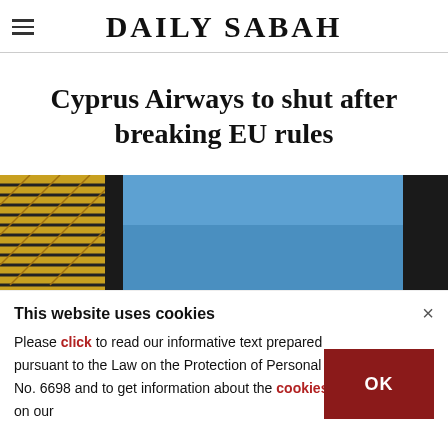DAILY SABAH
Cyprus Airways to shut after breaking EU rules
[Figure (photo): Close-up photo of a yellow and black coiled aircraft component against a blue sky with dark vertical structures]
This website uses cookies
Please click to read our informative text prepared pursuant to the Law on the Protection of Personal Data No. 6698 and to get information about the cookies used on our